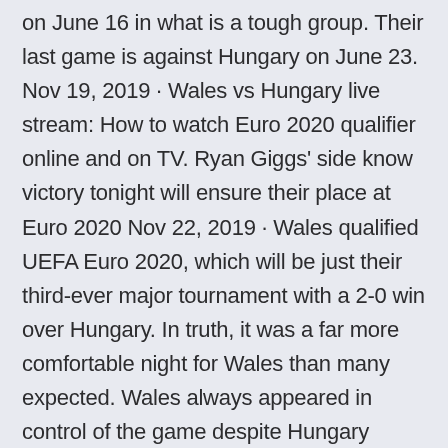on June 16 in what is a tough group. Their last game is against Hungary on June 23. Nov 19, 2019 · Wales vs Hungary live stream: How to watch Euro 2020 qualifier online and on TV. Ryan Giggs' side know victory tonight will ensure their place at Euro 2020 Nov 22, 2019 · Wales qualified UEFA Euro 2020, which will be just their third-ever major tournament with a 2-0 win over Hungary. In truth, it was a far more comfortable night for Wales than many expected. Wales always appeared in control of the game despite Hungary largely dominating possession. In this analysis we will consider how wales achieved this win 27 minutes ago · The Euro 2020 Tuesday match between Hungary vs Portugal will be held at the Puskas Arena.
Portugal, France vs. Germany By The Athletic Staff Jun 14, 2021 Every matchday of Euro 2020, The Athletic's